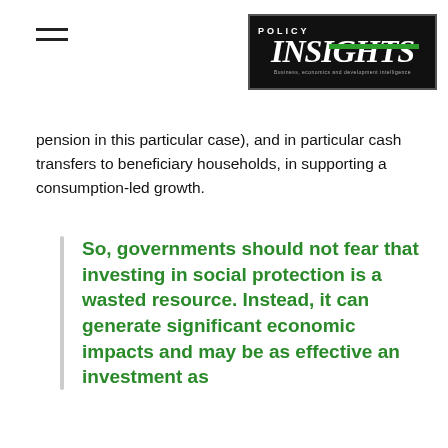POLICY INSIGHTS — Business, economics and development intelligence
pension in this particular case), and in particular cash transfers to beneficiary households, in supporting a consumption-led growth.
So, governments should not fear that investing in social protection is a wasted resource. Instead, it can generate significant economic impacts and may be as effective an investment as